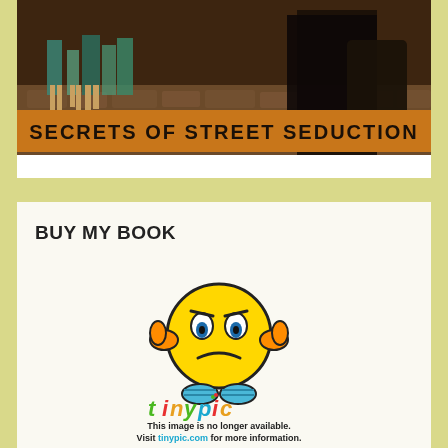[Figure (photo): Book cover image showing 'SECRETS OF STREET SEDUCTION' with people walking on a cobblestone street, text displayed on an orange banner at the bottom of the image.]
BUY MY BOOK
[Figure (illustration): TinyPic error image: a yellow frowning emoji/character with orange ear-like protrusions and blue feet, with the TinyPic logo below it. Text reads: 'This image is no longer available. Visit tinypic.com for more information.']